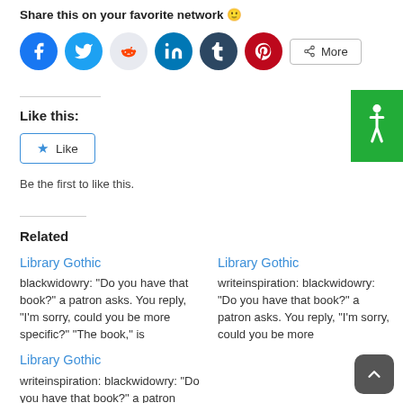Share this on your favorite network 🙂
[Figure (infographic): Row of social media share icons: Facebook (blue), Twitter (blue), Reddit (light gray), LinkedIn (teal), Tumblr (dark navy), Pinterest (red), and a More button]
Like this:
[Figure (other): Like button with star icon]
Be the first to like this.
Related
Library Gothic
blackwidowry: “Do you have that book?” a patron asks. You reply, “I’m sorry, could you be more specific?” “The book,” is
Library Gothic
writeinspiration: blackwidowry: “Do you have that book?” a patron asks. You reply, “I’m sorry, could you be more
Library Gothic
writeinspiration: blackwidowry: “Do you have that book?” a patron